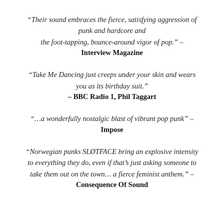“Their sound embraces the fierce, satisfying aggression of punk and hardcore and the foot-tapping, bounce-around vigor of pop.” – Interview Magazine
“Take Me Dancing just creeps under your skin and wears you as its birthday suit.” – BBC Radio 1, Phil Taggart
“…a wonderfully nostalgic blast of vibrant pop punk” – Impose
“Norwegian punks SLØTFACE bring an explosive intensity to everything they do, even if that’s just asking someone to take them out on the town… a fierce feminist anthem.” – Consequence Of Sound